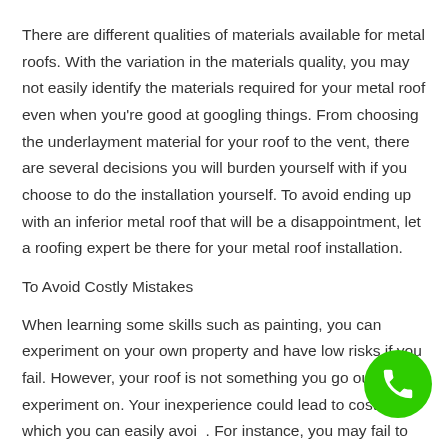There are different qualities of materials available for metal roofs. With the variation in the materials quality, you may not easily identify the materials required for your metal roof even when you're good at googling things. From choosing the underlayment material for your roof to the vent, there are several decisions you will burden yourself with if you choose to do the installation yourself. To avoid ending up with an inferior metal roof that will be a disappointment, let a roofing expert be there for your metal roof installation.
To Avoid Costly Mistakes
When learning some skills such as painting, you can experiment on your own property and have low risks if you fail. However, your roof is not something you go out to experiment on. Your inexperience could lead to costs which you can easily avoid. For instance, you may fail to give adequate ventilation and realize it
[Figure (other): Green circular phone call button in bottom right corner]